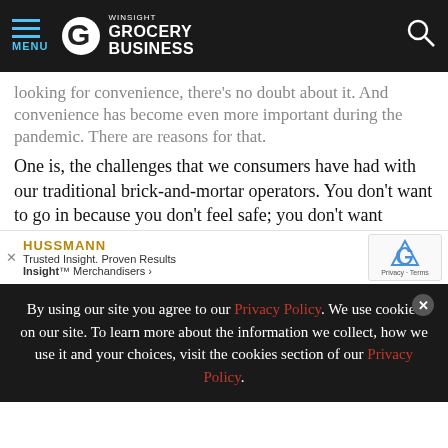MENU | WINSIGHT GROCERY BUSINESS
looking for convenience, there’s no doubt about it. And convenience has become even more important during the pandemic. There are reasons for that.
One is, the challenges that we consumers have had with our traditional brick-and-mortar operators. You don’t want to go in because you don’t feel safe; you don’t want to go in because you don’t want to wait in line; you’re u
[Figure (other): Hussmann advertisement banner: 'Trusted Insight. Proven Results. Insight™ Merchandisers ›' with reCAPTCHA badge and close button]
By using our site you agree to our Privacy Policy. We use cookies on our site. To learn more about the information we collect, how we use it and your choices, visit the cookies section of our Privacy Policy.